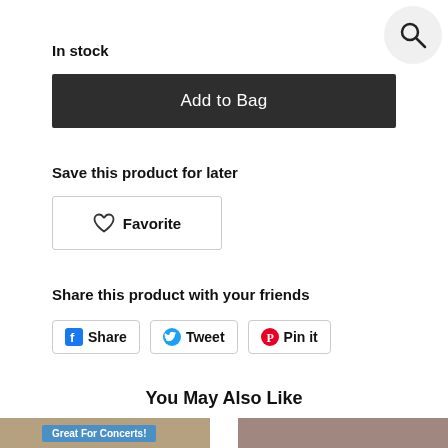[Figure (illustration): Search icon (magnifying glass) in a light grey circle, positioned top-right corner]
In stock
Add to Bag
Save this product for later
Favorite
Share this product with your friends
Share
Tweet
Pin it
You May Also Like
Great For Concerts!
[Figure (photo): Two product thumbnail images partially visible at the bottom, one tan/khaki colored and one mauve/dusty rose colored]